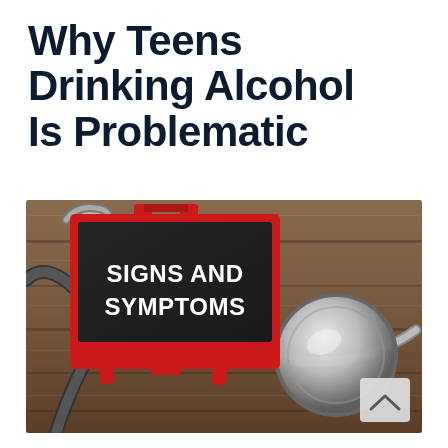Why Teens Drinking Alcohol Is Problematic
[Figure (photo): A red mini chalkboard easel with white text reading 'SIGNS AND SYMPTOMS', placed on a wooden surface next to a silver stethoscope, with a blurred wooden background.]